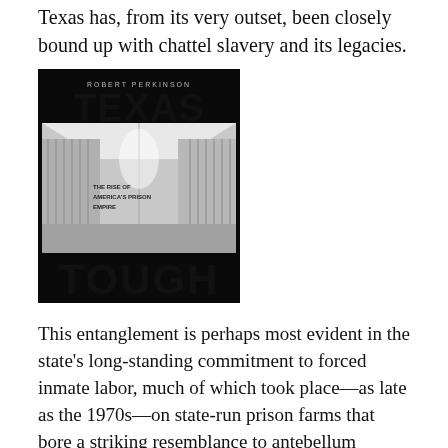Texas has, from its very outset, been closely bound up with chattel slavery and its legacies.
[Figure (photo): Book cover of 'Texas Tough: The Rise of America's Prison Empire' by Robert Perkinson, showing a black and white photograph of a prison corridor with the title in large bold letters.]
This entanglement is perhaps most evident in the state's long-standing commitment to forced inmate labor, much of which took place—as late as the 1970s—on state-run prison farms that bore a striking resemblance to antebellum plantations. It is also discernible in the late nineteenth- and early